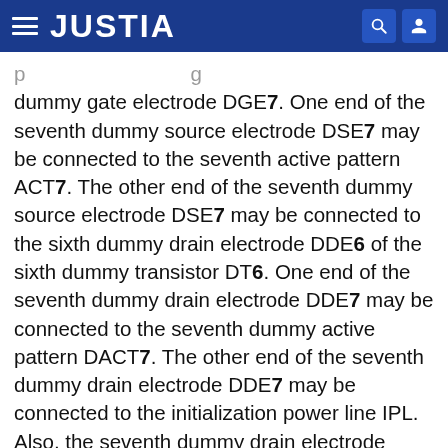JUSTIA
dummy gate electrode DGE7. One end of the seventh dummy source electrode DSE7 may be connected to the seventh active pattern ACT7. The other end of the seventh dummy source electrode DSE7 may be connected to the sixth dummy drain electrode DDE6 of the sixth dummy transistor DT6. One end of the seventh dummy drain electrode DDE7 may be connected to the seventh dummy active pattern DACT7. The other end of the seventh dummy drain electrode DDE7 may be connected to the initialization power line IPL. Also, the seventh dummy drain electrode DDE7 may be connected to a fourth dummy source electrode DSE4 of a fourth dummy transistor DT4 of a dummy pixel DPXL disposed on a subsequent row. The seventh dummy drain electrode DDE7 and the fourth dummy source electrode DSE4 of the fourth dummy transistor DT4 on the subsequent row may be connected to each other...